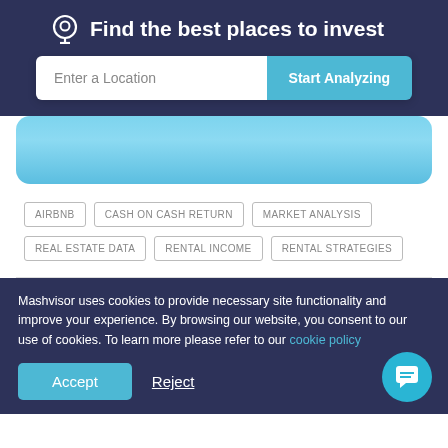Find the best places to invest
[Figure (screenshot): Search bar with 'Enter a Location' input and 'Start Analyzing' button on dark navy background]
[Figure (illustration): Blue rounded card/banner area]
AIRBNB
CASH ON CASH RETURN
MARKET ANALYSIS
REAL ESTATE DATA
RENTAL INCOME
RENTAL STRATEGIES
Mashvisor uses cookies to provide necessary site functionality and improve your experience. By browsing our website, you consent to our use of cookies. To learn more please refer to our cookie policy
Accept
Reject